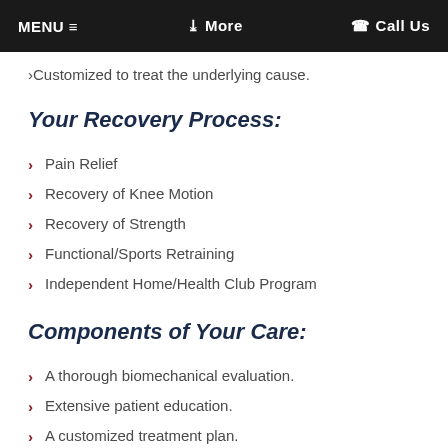MENU ≡   ❯ More   ☎ Call Us
Customized to treat the underlying cause.
Your Recovery Process:
Pain Relief
Recovery of Knee Motion
Recovery of Strength
Functional/Sports Retraining
Independent Home/Health Club Program
Components of Your Care:
A thorough biomechanical evaluation.
Extensive patient education.
A customized treatment plan.
Gentle hands-on techniques to relax the